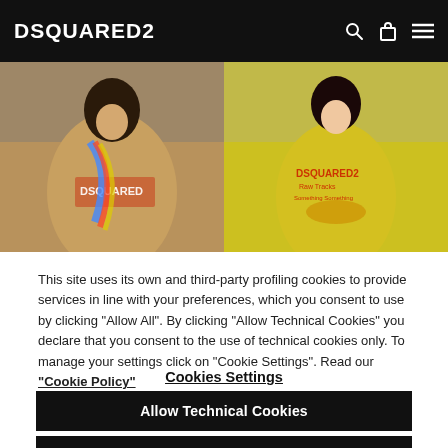DSQUARED2
[Figure (photo): Hero image showing two models wearing DSQUARED2 branded t-shirts. Left model wears a tan/beige t-shirt with DSQUARED2 print and a colorful scarf. Right model wears a yellow t-shirt with DSQUARED2 branding.]
This site uses its own and third-party profiling cookies to provide services in line with your preferences, which you consent to use by clicking "Allow All". By clicking "Allow Technical Cookies" you declare that you consent to the use of technical cookies only. To manage your settings click on "Cookie Settings". Read our "Cookie Policy"
Cookies Settings
Allow Technical Cookies
Allow All